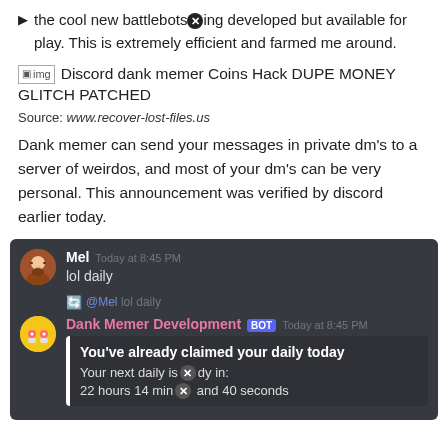the cool new battlebots [X] being developed but available for play. This is extremely efficient and farmed me around.
[Figure (screenshot): Broken image placeholder followed by text: Discord dank memer Coins Hack DUPE MONEY GLITCH PATCHED]
Source: www.recover-lost-files.us
Dank memer can send your messages in private dm’s to a server of weirdos, and most of your dm’s can be very personal. This announcement was verified by discord earlier today.
[Figure (screenshot): Discord chat screenshot showing Mel saying 'lol daily', a reply from @Mel 'lol daily', then Dank Memer Development BOT at 8:45 PM with embed: 'You've already claimed your daily today. Your next daily is [X] dy in: 22 hours 14 min [X] and 40 seconds']